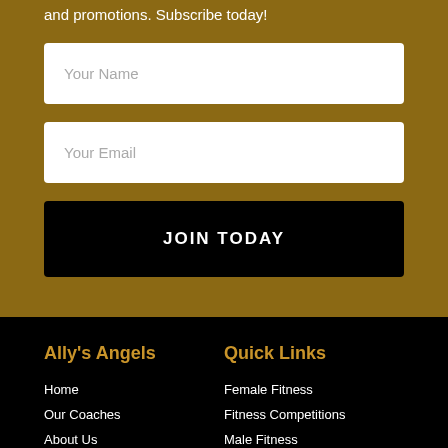and promotions. Subscribe today!
Your Name
Your Email
JOIN TODAY
Ally's Angels
Home
Our Coaches
About Us
Meet Our Angels
Quick Links
Female Fitness
Fitness Competitions
Male Fitness
Nutrition